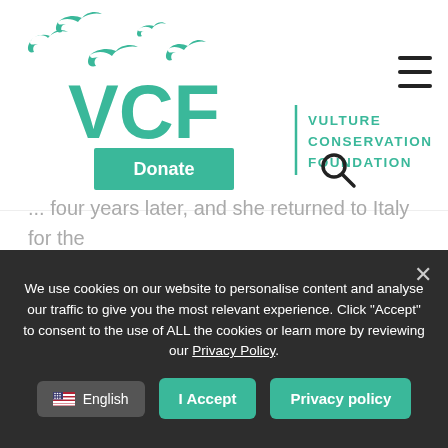[Figure (logo): VCF Vulture Conservation Foundation logo with flying bird silhouettes in teal/green color]
[Figure (other): Donate button (teal rectangle) and search icon]
... four years later, and she returned to Italy for the first time, and has ever since been performing her annual autumn and spring migrations.
Sara is undoubtedly a vulture of records, even from the start. Amazingly, at the beginning of her first migration in
We use cookies on our website to personalise content and analyse our traffic to give you the most relevant experience. Click "Accept" to consent to the use of ALL the cookies or learn more by reviewing our Privacy Policy.